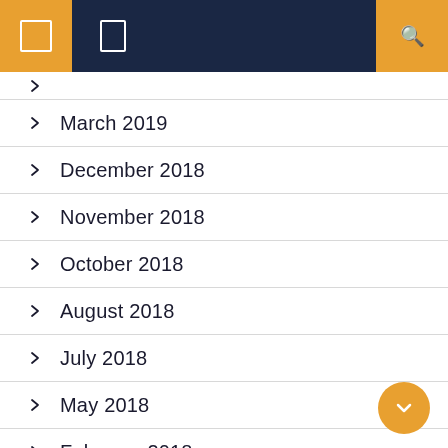Navigation bar with menu icons and search
March 2019
December 2018
November 2018
October 2018
August 2018
July 2018
May 2018
February 2018
January 2018